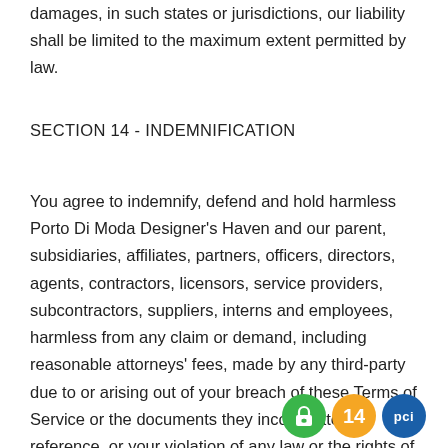damages, in such states or jurisdictions, our liability shall be limited to the maximum extent permitted by law.
SECTION 14 - INDEMNIFICATION
You agree to indemnify, defend and hold harmless Porto Di Moda Designer's Haven and our parent, subsidiaries, affiliates, partners, officers, directors, agents, contractors, licensors, service providers, subcontractors, suppliers, interns and employees, harmless from any claim or demand, including reasonable attorneys' fees, made by any third-party due to or arising out of your breach of these Terms of Service or the documents they incorporate by reference, or your violation of any law or the rights of a third-party.